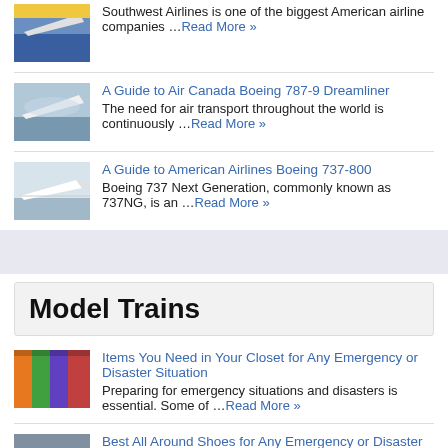[Figure (photo): Airplane photo thumbnail - Southwest Airlines]
Southwest Airlines is one of the biggest American airline companies …Read More »
[Figure (photo): Airplane photo thumbnail - Air Canada Boeing 787-9]
A Guide to Air Canada Boeing 787-9 Dreamliner
The need for air transport throughout the world is continuously …Read More »
[Figure (photo): Airplane photo thumbnail - American Airlines Boeing 737-800]
A Guide to American Airlines Boeing 737-800
Boeing 737 Next Generation, commonly known as 737NG, is an …Read More »
Model Trains
[Figure (photo): Colorful clothes/items photo thumbnail - emergency closet]
Items You Need in Your Closet for Any Emergency or Disaster Situation
Preparing for emergency situations and disasters is essential. Some of …Read More »
[Figure (photo): Photo thumbnail - Best All Around Shoes]
Best All Around Shoes for Any Emergency or Disaster